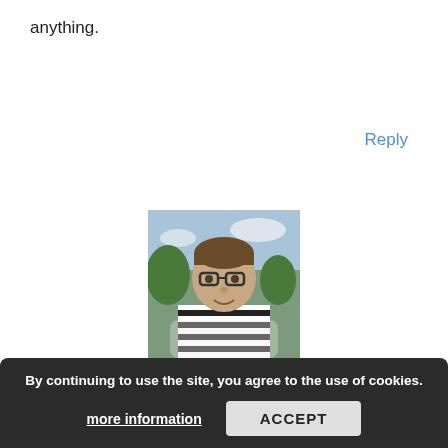anything.
Reply
[Figure (photo): Profile photo of Thomas DeMichele, a young man with glasses wearing a black and white striped shirt, outdoors with trees and sky in the background.]
Thomas DeMichele on November 10, 2016
I disagree obviously, in fact I feel that people not being empowered to vote just cost Democrats the Presidency, Senate
By continuing to use the site, you agree to the use of cookies.
more information
ACCEPT
See other takes on this from us: